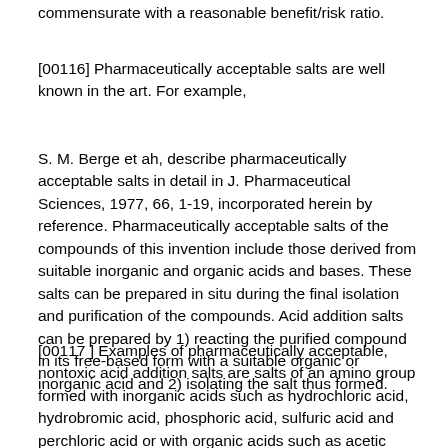commensurate with a reasonable benefit/risk ratio.
[00116] Pharmaceutically acceptable salts are well known in the art. For example,
S. M. Berge et ah, describe pharmaceutically acceptable salts in detail in J. Pharmaceutical Sciences, 1977, 66, 1-19, incorporated herein by reference. Pharmaceutically acceptable salts of the compounds of this invention include those derived from suitable inorganic and organic acids and bases. These salts can be prepared in situ during the final isolation and purification of the compounds. Acid addition salts can be prepared by 1) reacting the purified compound in its free-based form with a suitable organic or inorganic acid and 2) isolating the salt thus formed.
[00117 ] Examples of pharmaceutically acceptable, nontoxic acid addition salts are salts of an amino group formed with inorganic acids such as hydrochloric acid, hydrobromic acid, phosphoric acid, sulfuric acid and perchloric acid or with organic acids such as acetic acid, oxalic acid, maleic acid, tartaric acid, citric acid, succinic acid or malonic acid or by using other methods used in the